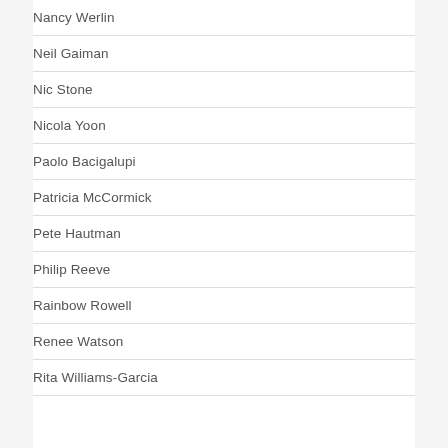Nancy Werlin
Neil Gaiman
Nic Stone
Nicola Yoon
Paolo Bacigalupi
Patricia McCormick
Pete Hautman
Philip Reeve
Rainbow Rowell
Renee Watson
Rita Williams-Garcia